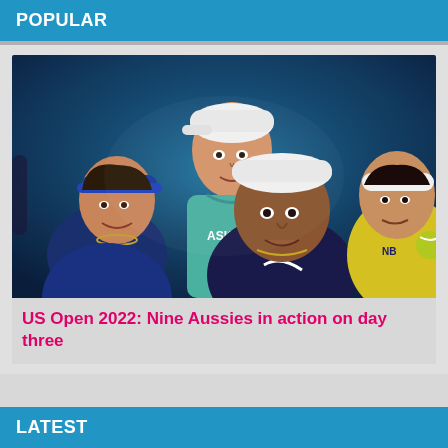POPULAR
[Figure (photo): Composite photo of four Australian tennis players at the US Open 2022, including a woman in blue visor, a tall player in teal Asics kit, Nick Kyrgios in dark navy Nike outfit with orange straps, and a player in yellow shirt on a blue background]
US Open 2022: Nine Aussies in action on day three
LATEST